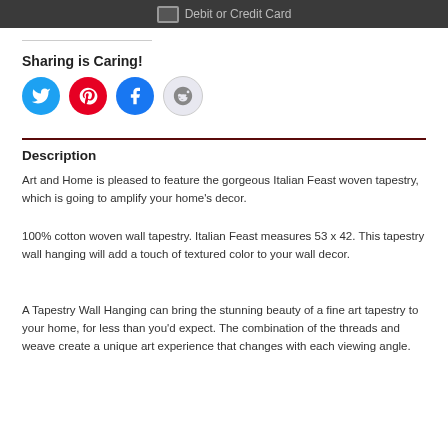[Figure (other): Dark payment button bar showing a card icon and text 'Debit or Credit Card']
Sharing is Caring!
[Figure (other): Four social share buttons: Twitter (blue), Pinterest (red), Facebook (blue), Reddit (light grey)]
Description
Art and Home is pleased to feature the gorgeous Italian Feast woven tapestry, which is going to amplify your home's decor.
100% cotton woven wall tapestry. Italian Feast measures 53 x 42. This tapestry wall hanging will add a touch of textured color to your wall decor.
A Tapestry Wall Hanging can bring the stunning beauty of a fine art tapestry to your home, for less than you'd expect. The combination of the threads and weave create a unique art experience that changes with each viewing angle.